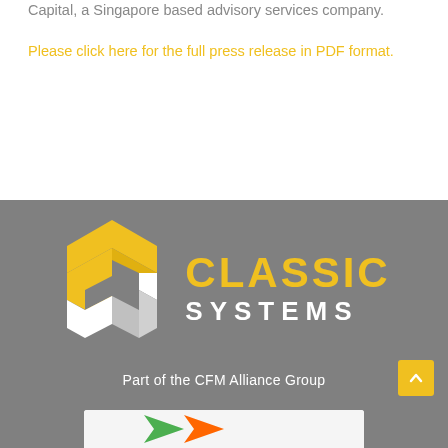Capital, a Singapore based advisory services company.
Please click here for the full press release in PDF format.
[Figure (logo): Classic Systems logo with yellow and white geometric cube icon and yellow 'CLASSIC' text with white 'SYSTEMS' text on grey background]
Part of the CFM Alliance Group
[Figure (other): Partial image strip at bottom showing colored arrows/logo]